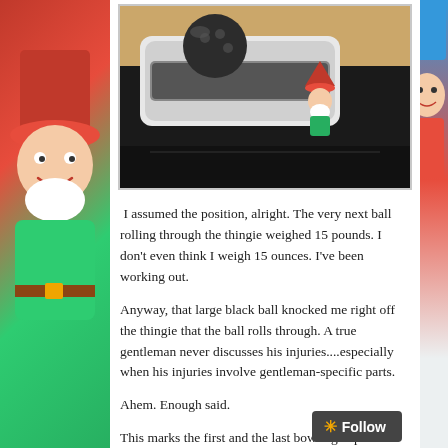[Figure (photo): A small cat or animal figurine (gnome) sitting on a bowling ball return mechanism at a bowling alley, with a small gnome figurine with a red hat visible nearby on the lane area.]
I assumed the position, alright. The very next ball rolling through the thingie weighed 15 pounds. I don't even think I weigh 15 ounces. I've been working out.
Anyway, that large black ball knocked me right off the thingie that the ball rolls through. A true gentleman never discusses his injuries....especially when his injuries involve gentleman-specific parts.
Ahem. Enough said.
This marks the first and the last bowling experience that I will ever put myself through. I wandered out of the bo